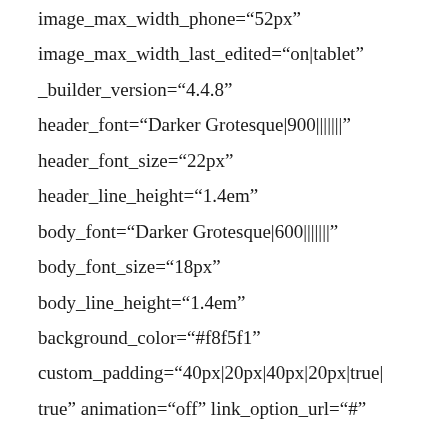image_max_width_phone="52px" image_max_width_last_edited="on|tablet" _builder_version="4.4.8" header_font="Darker Grotesque|900||||||" header_font_size="22px" header_line_height="1.4em" body_font="Darker Grotesque|600||||||" body_font_size="18px" body_line_height="1.4em" background_color="#f8f5f1" custom_padding="40px|20px|40px|20px|true|true" animation="off" link_option_url="#"